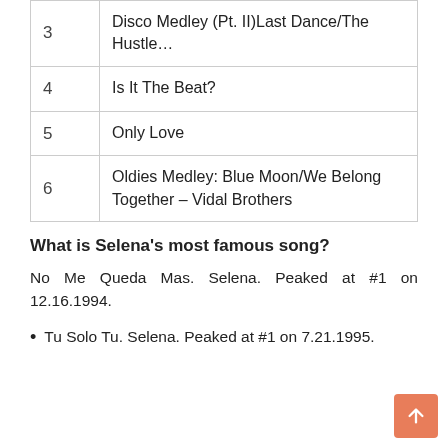| # | Title |
| --- | --- |
| 3 | Disco Medley (Pt. II)Last Dance/The Hustle… |
| 4 | Is It The Beat? |
| 5 | Only Love |
| 6 | Oldies Medley: Blue Moon/We Belong Together – Vidal Brothers |
What is Selena's most famous song?
No Me Queda Mas. Selena. Peaked at #1 on 12.16.1994.
Tu Solo Tu. Selena. Peaked at #1 on 7.21.1995.